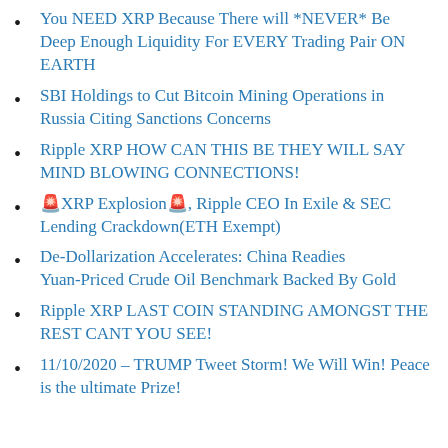You NEED XRP Because There will *NEVER* Be Deep Enough Liquidity For EVERY Trading Pair ON EARTH
SBI Holdings to Cut Bitcoin Mining Operations in Russia Citing Sanctions Concerns
Ripple XRP HOW CAN THIS BE THEY WILL SAY MIND BLOWING CONNECTIONS!
🚨XRP Explosion🚨, Ripple CEO In Exile & SEC Lending Crackdown(ETH Exempt)
De-Dollarization Accelerates: China Readies Yuan-Priced Crude Oil Benchmark Backed By Gold
Ripple XRP LAST COIN STANDING AMONGST THE REST CANT YOU SEE!
11/10/2020 - TRUMP Tweet Storm! We Will Win! Peace is the ultimate Prize!